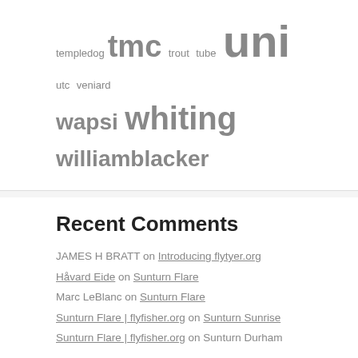templedog tmc trout tube uni utc veniard wapsi whiting williamblacker
Recent Comments
JAMES H BRATT on Introducing flytyer.org
Håvard Eide on Sunturn Flare
Marc LeBlanc on Sunturn Flare
Sunturn Flare | flyfisher.org on Sunturn Sunrise
Sunturn Flare | flyfisher.org on Sunturn Durham
Categories
1/0-4
14-18
2/0-9/0